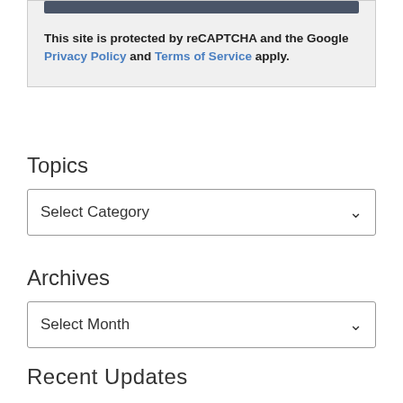This site is protected by reCAPTCHA and the Google Privacy Policy and Terms of Service apply.
Topics
Select Category
Archives
Select Month
Recent Updates